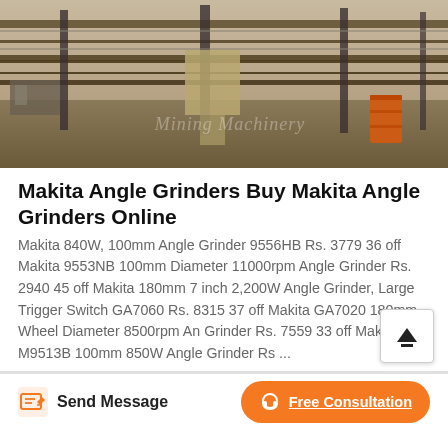[Figure (photo): Industrial mining/conveyor machinery setup outdoors with metal rails, equipment, and an orange barrel. Watermark text 'Mining Machinery' visible.]
Makita Angle Grinders Buy Makita Angle Grinders Online
Makita 840W, 100mm Angle Grinder 9556HB Rs. 3779 36 off Makita 9553NB 100mm Diameter 11000rpm Angle Grinder Rs. 2940 45 off Makita 180mm 7 inch 2,200W Angle Grinder, Large Trigger Switch GA7060 Rs. 8315 37 off Makita GA7020 180mm Wheel Diameter 8500rpm Angle Grinder Rs. 7559 33 off Makita M9513B 100mm 850W Angle Grinder Rs ...
Send Message
Free Consultation